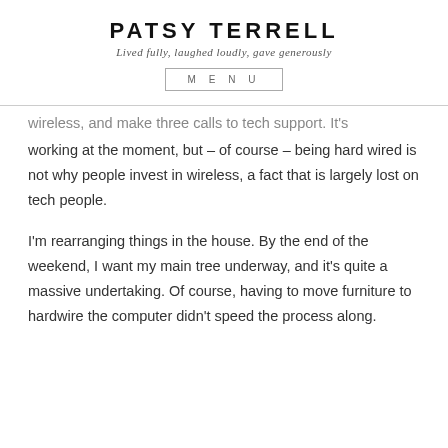PATSY TERRELL
Lived fully, laughed loudly, gave generously
MENU
wireless, and make three calls to tech support. It's working at the moment, but – of course – being hard wired is not why people invest in wireless, a fact that is largely lost on tech people.
I'm rearranging things in the house. By the end of the weekend, I want my main tree underway, and it's quite a massive undertaking. Of course, having to move furniture to hardwire the computer didn't speed the process along.